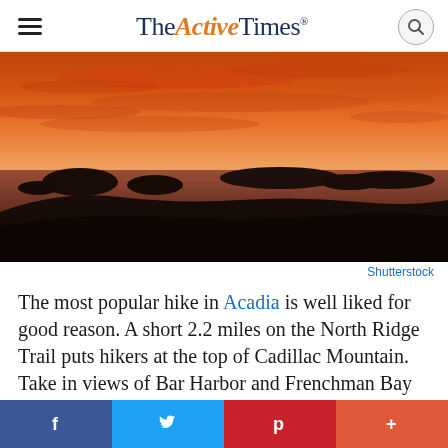TheActiveTimes
[Figure (photo): Panoramic sunset photo from Cadillac Mountain in Acadia National Park, showing orange and red sky with silhouetted islands in Frenchman Bay below.]
Shutterstock
The most popular hike in Acadia is well liked for good reason. A short 2.2 miles on the North Ridge Trail puts hikers at the top of Cadillac Mountain. Take in views of Bar Harbor and Frenchman Bay from the 1,530-foot-high peak and be among the first to watch the sun rise
f  𝕥  p  +